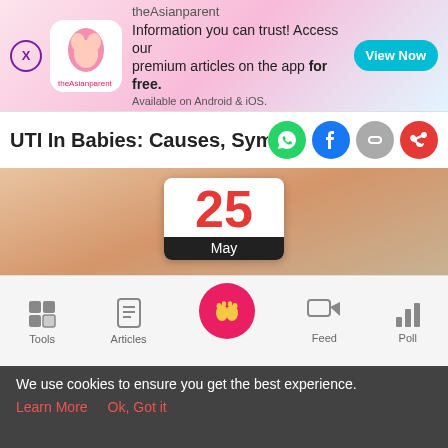[Figure (screenshot): theAsianparent app banner ad with pink/blue gradient background, app logo, text about premium articles and View Now button]
UTI In Babies: Causes, Symptoms, T…
[Figure (photo): Hero image of pregnant belly with calendar overlay showing 25 May, phone mockup on left, black video overlay on right]
[Figure (screenshot): Bottom navigation bar with Tools, Articles, Home (active pink circle with baby feet), Feed, Poll icons]
We use cookies to ensure you get the best experience.
Learn More   Ok, Got it